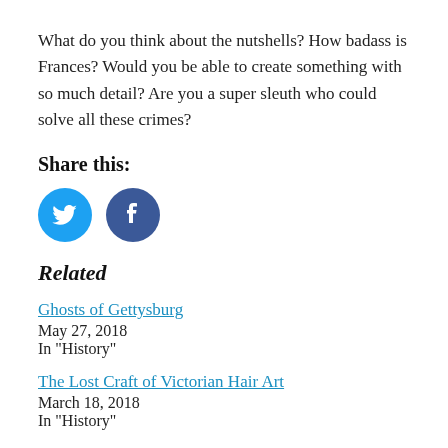What do you think about the nutshells? How badass is Frances? Would you be able to create something with so much detail? Are you a super sleuth who could solve all these crimes?
Share this:
[Figure (illustration): Two circular social media share buttons: Twitter (blue with bird icon) and Facebook (dark blue with f icon)]
Related
Ghosts of Gettysburg
May 27, 2018
In "History"
The Lost Craft of Victorian Hair Art
March 18, 2018
In "History"